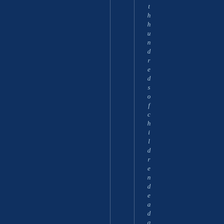thhundredsofchildrendeadandwou